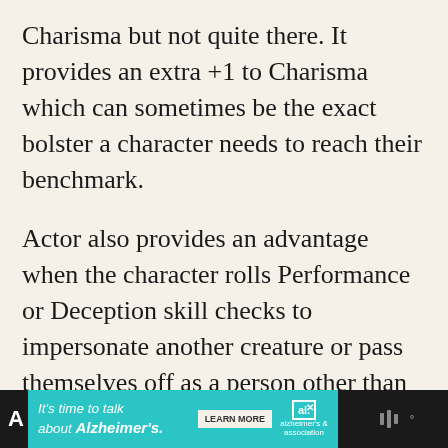Charisma but not quite there. It provides an extra +1 to Charisma which can sometimes be the exact bolster a character needs to reach their benchmark.
Actor also provides an advantage when the character rolls Performance or Deception skill checks to impersonate another creature or pass themselves off as a person other than themselves. Lastly, it allows the character to mimic any sound or voice that they hear.
It's time to talk about Alzheimer's. LEARN MORE